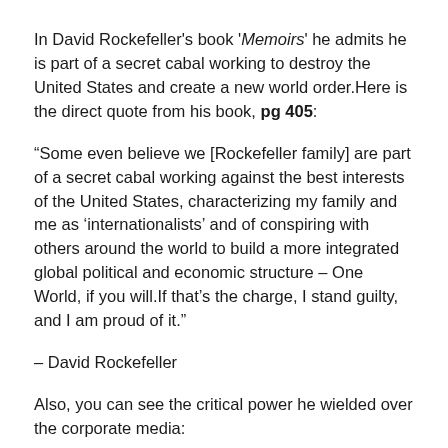In David Rockefeller's book 'Memoirs' he admits he is part of a secret cabal working to destroy the United States and create a new world order.Here is the direct quote from his book, pg 405:
“Some even believe we [Rockefeller family] are part of a secret cabal working against the best interests of the United States, characterizing my family and me as ‘internationalists’ and of conspiring with others around the world to build a more integrated global political and economic structure – One World, if you will.If that’s the charge, I stand guilty, and I am proud of it.”
– David Rockefeller
Also, you can see the critical power he wielded over the corporate media:
We are grateful to The Washington Post, The New York Times, Time Magazine and other great publications whose directors have attended our meetings and respected their promises of discretion for almost forty years. It would have been impossible for us to develop our plan for the world if we had been subject to